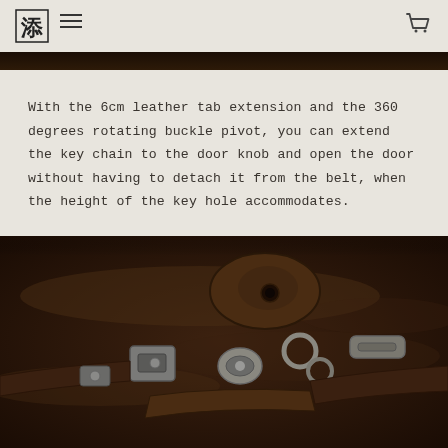[Logo] [Menu] [Cart]
[Figure (photo): Dark brown leather and metal key chain hardware close-up — top strip]
With the 6cm leather tab extension and the 360 degrees rotating buckle pivot, you can extend the key chain to the door knob and open the door without having to detach it from the belt, when the height of the key hole accommodates.
[Figure (photo): Close-up dark photo of leather belt key chain with rotating buckle pivot mechanism, metal clasps, rings and leather tab on dark brown textured background]